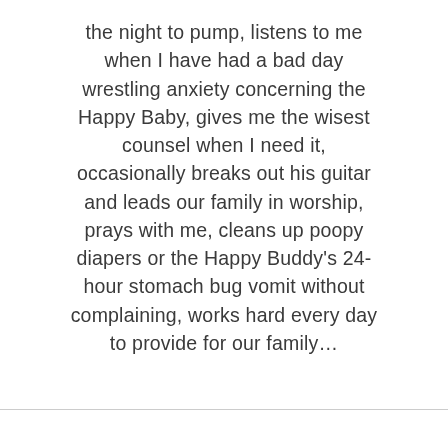the night to pump, listens to me when I have had a bad day wrestling anxiety concerning the Happy Baby, gives me the wisest counsel when I need it, occasionally breaks out his guitar and leads our family in worship, prays with me, cleans up poopy diapers or the Happy Buddy's 24-hour stomach bug vomit without complaining, works hard every day to provide for our family…